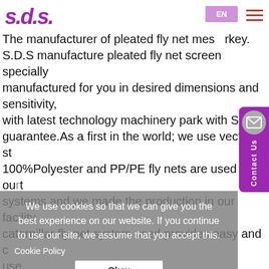[Figure (logo): SDS company logo in purple italic bold text]
The manufacturer of pleated fly net mesh turkey. S.D.S manufacture pleated fly net screen specially manufactured for you in desired dimensions and sensitivity, with latest technology machinery park with S.D.S. guarantee.As a first in the world; we use vectran st... 100%Polyester and PP/PE fly nets are used in our systems and we made the production in our facility caterpillar fly net system used provides easy and use.
We use cookies so that we can give you the best experience on our website. If you continue to use our site, we assume that you accept this.
Cookie Policy
Okey
We are working to deliver the product to our customers with the safest service conditions by combining fly screen systems, which have become an important need in recent years, with the best material quality, perfect scaling and flawless workmanship. To prepare the products required by our job in a healthy and comfortable way to make your life easier and to design and manufacture them in a way that makes your life